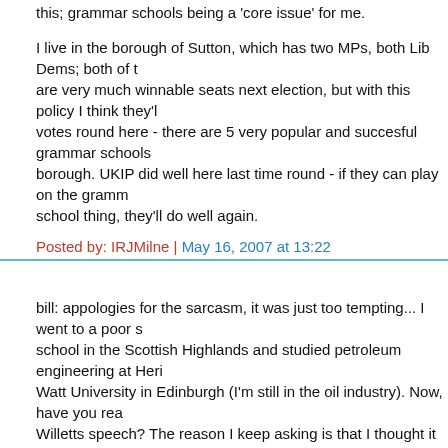this; grammar schools being a 'core issue' for me.
I live in the borough of Sutton, which has two MPs, both Lib Dems; both of the are very much winnable seats next election, but with this policy I think they'll votes round here - there are 5 very popular and succesful grammar schools borough. UKIP did well here last time round - if they can play on the gramm school thing, they'll do well again.
Posted by: IRJMilne | May 16, 2007 at 13:22
bill: appologies for the sarcasm, it was just too tempting... I went to a poor s school in the Scottish Highlands and studied petroleum engineering at Hero Watt University in Edinburgh (I'm still in the oil industry). Now, have you rea Willetts speech? The reason I keep asking is that I thought it was very good not 'policy light' as you suggested earlier.
Posted by: Oberon Houston | May 16, 2007 at 13:22
A selective system was reintroduced into East Germany after decades of communism. There's no reason why it can't be reintroduced here.
By your logic we should never have denationalised in the 1980s - that was effectively turning the clock back.